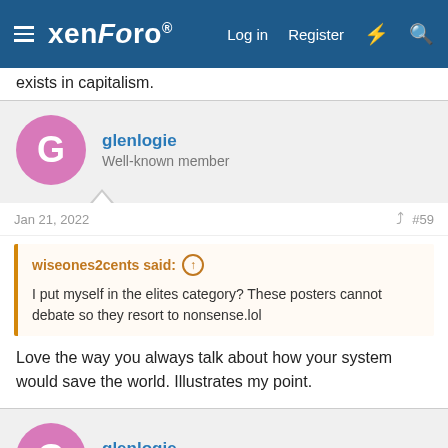xenForo — Log in  Register
exists in capitalism.
glenlogie
Well-known member
Jan 21, 2022  #59
wiseones2cents said: ↑
I put myself in the elites category? These posters cannot debate so they resort to nonsense.lol
Love the way you always talk about how your system would save the world. Illustrates my point.
glenlogie
Well-known member
Jan 21, 2022  #60